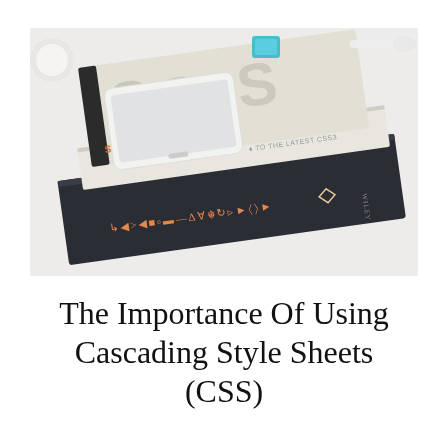[Figure (photo): Photo of two books stacked on a white desk surface with a white smartphone resting on top. The top visible book cover features large grey '3' characters forming 'CSS3' text. Below it is a white book with 'STUNNING CSS' text on its spine. The bottom book is dark navy/black with HTML/CSS symbols on its spine in small orange/gold text, along with a small diamond logo. A teal/cyan small object and white earphones are faintly visible in the background.]
The Importance Of Using Cascading Style Sheets (CSS)